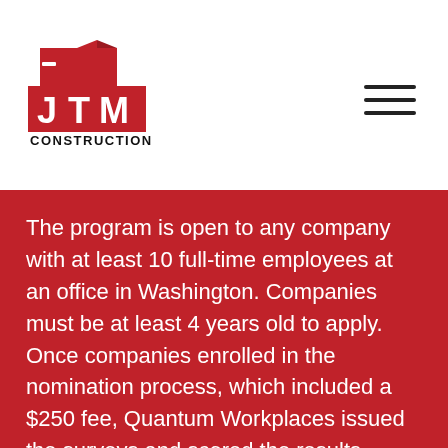[Figure (logo): JTM Construction logo — red block-style letters JTM with angular red shape above, black text CONSTRUCTION below]
The program is open to any company with at least 10 full-time employees at an office in Washington. Companies must be at least 4 years old to apply. Once companies enrolled in the nomination process, which included a $250 fee, Quantum Workplaces issued the surveys and scored the results. Nominations did not guarantee placement on the Lists.
Companies are categorized into one of four lists